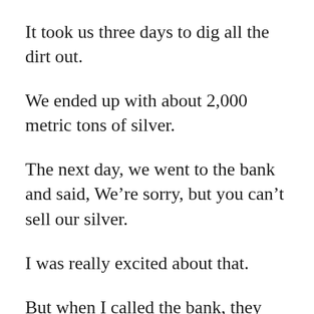It took us three days to dig all the dirt out.
We ended up with about 2,000 metric tons of silver.
The next day, we went to the bank and said, We’re sorry, but you can’t sell our silver.
I was really excited about that.
But when I called the bank, they told me the bank didn’t want to deal with us because we